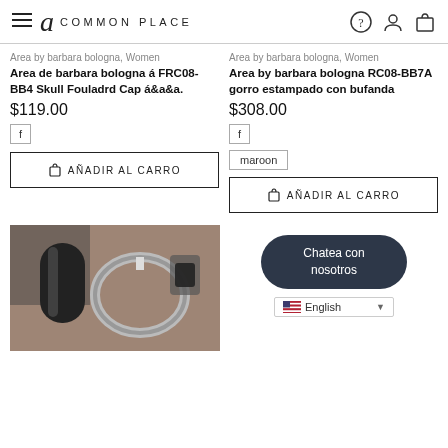Common Place — navigation header with hamburger menu, logo, help, user, and cart icons
Area by barbara bologna, Women
Area de barbara bologna á FRC08-BB4 Skull Fouladrd Cap á&a&a.
$119.00
f
AÑADIR AL CARRO
Area by barbara bologna, Women
Area by barbara bologna RC08-BB7A gorro estampado con bufanda
$308.00
f
maroon
AÑADIR AL CARRO
[Figure (photo): Product image of metal carabiner/bike handle in grayscale/brown tones]
Chatea con nosotros
English